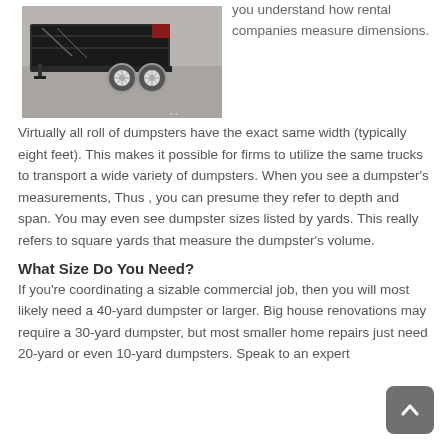[Figure (photo): A roll-off dumpster trailer with dual axle wheels, parked on a concrete surface, photographed from the side showing the bed and wheels.]
you understand how rental companies measure dimensions.
Virtually all roll of dumpsters have the exact same width (typically eight feet). This makes it possible for firms to utilize the same trucks to transport a wide variety of dumpsters. When you see a dumpster's measurements, Thus , you can presume they refer to depth and span. You may even see dumpster sizes listed by yards. This really refers to square yards that measure the dumpster's volume.
What Size Do You Need?
If you're coordinating a sizable commercial job, then you will most likely need a 40-yard dumpster or larger. Big house renovations may require a 30-yard dumpster, but most smaller home repairs just need 20-yard or even 10-yard dumpsters. Speak to an expert